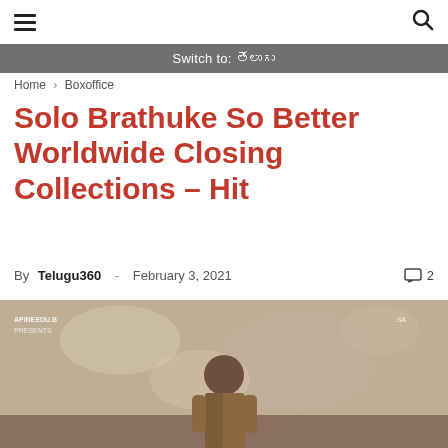Switch to: తెలుగు
Home › Boxoffice
Solo Brathuke So Better Worldwide Closing Collections – Hit
By Telugu360 - February 3, 2021  2
[Figure (photo): Movie poster/still from Solo Brathuke So Better showing a person from behind standing in front of a decorative wall, with film credits text overlay]